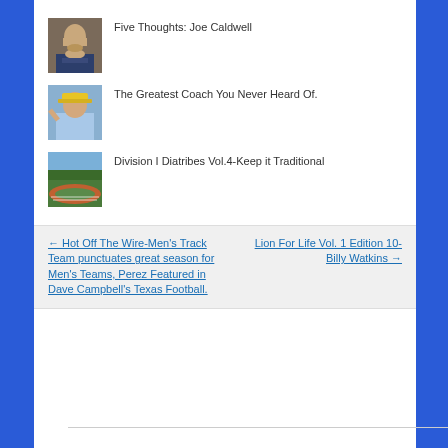[Figure (photo): Headshot of Joe Caldwell, man with beard in dark suit]
Five Thoughts: Joe Caldwell
[Figure (photo): Photo of a coach wearing a yellow cap and light blue shirt, gesturing]
The Greatest Coach You Never Heard Of.
[Figure (photo): Aerial or field-level photo of a track and field venue]
Division I Diatribes Vol.4-Keep it Traditional
← Hot Off The Wire-Men's Track Team punctuates great season for Men's Teams, Perez Featured in Dave Campbell's Texas Football.
Lion For Life Vol. 1 Edition 10-Billy Watkins →